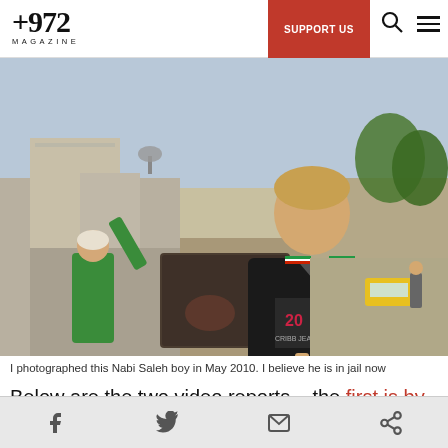+972 MAGAZINE | SUPPORT US
[Figure (photo): A young Palestinian boy standing on a street in Nabi Saleh, wearing a black v-neck t-shirt with a Palestinian flag design on the collar and cuffs, holding rope, with another person in a green shirt in the background raising their hand, buildings and a road visible behind them.]
I photographed this Nabi Saleh boy in May 2010. I believe he is in jail now
Below are the two video reports – the first is by
Social share icons: Facebook, Twitter, Email, Share